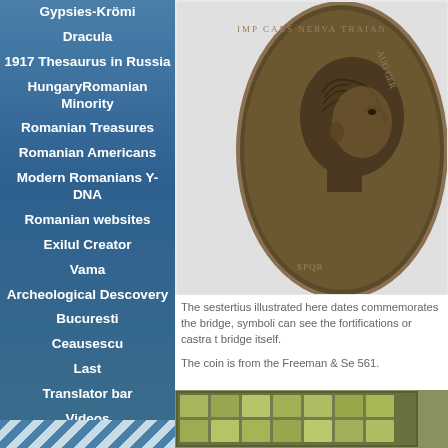Gypsies-Krömi
Dracula
1917 Thesaurus in Russia
HungaryRomanian Minority
Romanian Treasures
Romanian Americans
Modern Romanians Y-DNA
Romanian websites
Exilul Creator
Vama
Archeological Descovery
Bucuresti
Ceausescu
Last
Translator bar
Videos
Last (copy)
[Figure (photo): Ancient Roman sestertius coin showing the profile of a Roman emperor facing right, with inscriptions around the edge]
The sestertius illustrated here dates... commemorates the bridge, symboli... can see the fortifications or castra t... bridge itself.
The coin is from the Freeman & Se... 561.
[Figure (photo): Green glass or crystal tile arrangement viewed at an angle]